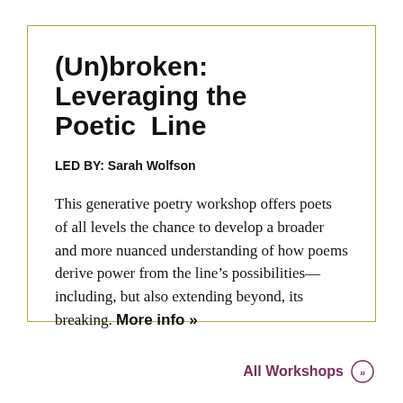(Un)broken: Leveraging the Poetic Line
LED BY: Sarah Wolfson
This generative poetry workshop offers poets of all levels the chance to develop a broader and more nuanced understanding of how poems derive power from the line’s possibilities—including, but also extending beyond, its breaking. More info »
All Workshops »